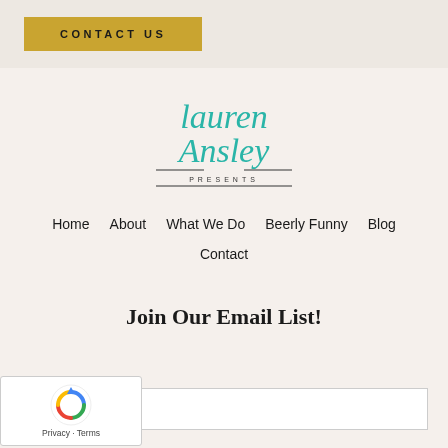[Figure (logo): Gold/yellow 'CONTACT US' button on a beige banner]
[Figure (logo): Lauren Ansley Presents logo in teal cursive script with underline decorations]
Home   About   What We Do   Beerly Funny   Blog   Contact
Join Our Email List!
First Name
[Figure (logo): reCAPTCHA badge with rotating arrows icon, Privacy and Terms links]